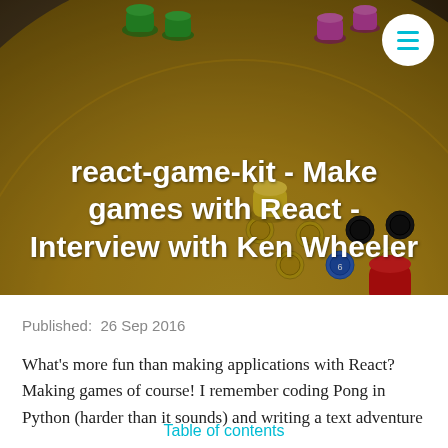[Figure (photo): Hero image of a Chinese checkers board game with colored game pieces (green, pink, yellow, red) on a yellow circular board, with title text overlaid]
react-game-kit - Make games with React - Interview with Ken Wheeler
Published:  26 Sep 2016
What's more fun than making applications with React? Making games of course! I remember coding Pong in Python (harder than it sounds) and writing a text adventure
Table of contents